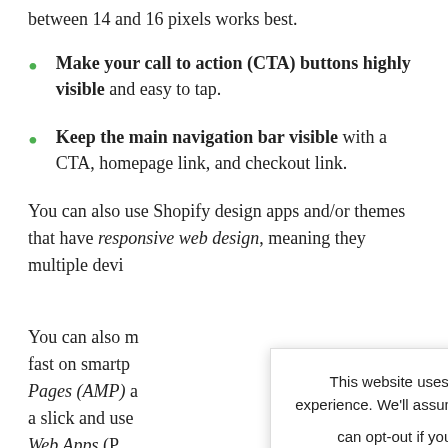between 14 and 16 pixels works best.
Make your call to action (CTA) buttons highly visible and easy to tap.
Keep the main navigation bar visible with a CTA, homepage link, and checkout link.
You can also use Shopify design apps and/or themes that have responsive web design, meaning they multiple devi
You can also m fast on smartp Pages (AMP) a a slick and use Web Apps (PW optimal UX and keeping them browsing for
This website uses cookies to improve your experience. We'll assume you're ok with this, but you can opt-out if you wish.
Accept
Reject
Read More